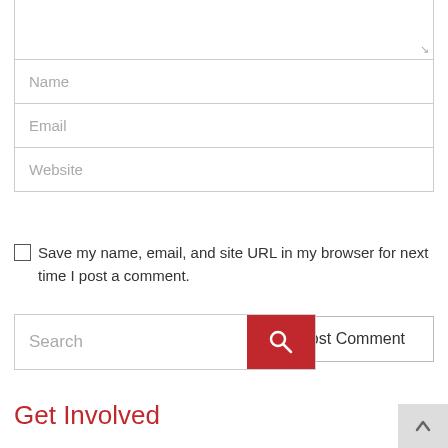[Figure (screenshot): Web form with textarea (partially shown), Name, Email, Website input fields]
Save my name, email, and site URL in my browser for next time I post a comment.
Post Comment
Search
Get Involved